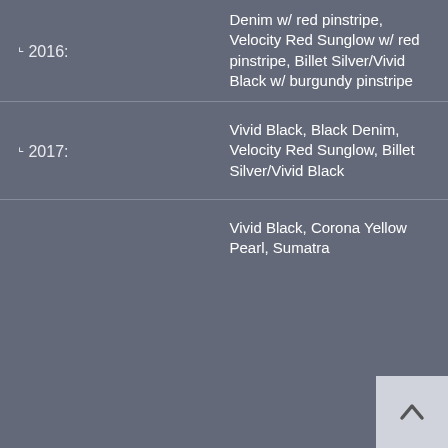| Year | Colors |
| --- | --- |
| ⌞ 2016: | Denim w/ red pinstripe, Velocity Red Sunglow w/ red pinstripe, Billet Silver/Vivid Black w/ burgundy pinstripe |
| ⌞ 2017: | Vivid Black, Black Denim, Velocity Red Sunglow, Billet Silver/Vivid Black |
| (2018): | Vivid Black, Corona Yellow Pearl, Sumatra |